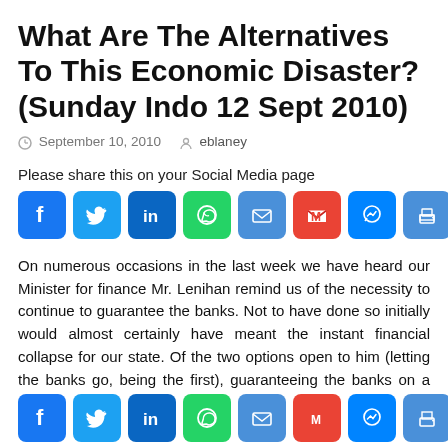What Are The Alternatives To This Economic Disaster? (Sunday Indo 12 Sept 2010)
September 10, 2010   eblaney
Please share this on your Social Media page
[Figure (infographic): Social media sharing buttons: Facebook, Twitter, LinkedIn, WhatsApp, Email, Gmail, Messenger, Print, Share+]
On numerous occasions in the last week we have heard our Minister for finance Mr. Lenihan remind us of the necessity to continue to guarantee the banks. Not to have done so initially would almost certainly have meant the instant financial collapse for our state. Of the two options open to him (letting the banks go, being the first), guaranteeing the banks on a multilateral model according to those who were advising himself and Mr. Cowen on that
[Figure (infographic): Social media sharing buttons at bottom: Facebook, Twitter, LinkedIn, WhatsApp, Email, Gmail, Messenger, Print, Share+]